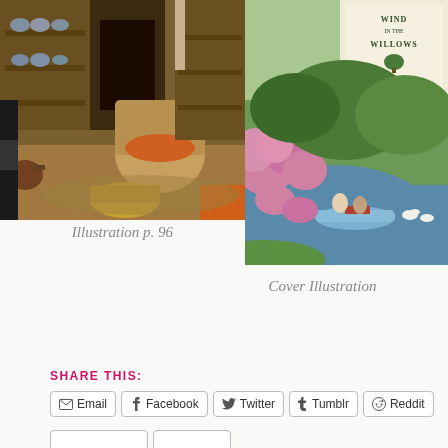[Figure (illustration): Interior scene illustration from page 96 of Wind in the Willows, showing a cozy cottage room with a wicker armchair, fireplace with dishes on shelves, teapot, and warm lighting]
[Figure (illustration): Cover illustration of Wind in the Willows illustrated by Inga Moore, showing a serene river scene with characters in a blue boat, pink flowering bushes along the bank, and trees overhead]
Illustration p. 96
Cover Illustration
SHARE THIS:
Email
Facebook
Twitter
Tumblr
Reddit